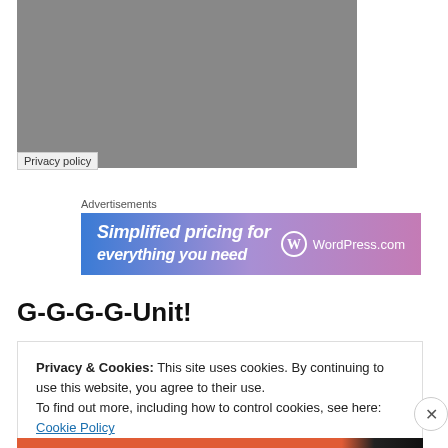[Figure (other): Gray placeholder image box with a 'Privacy policy' label overlay in the bottom-left corner]
Privacy policy
Advertisements
[Figure (other): WordPress.com advertisement banner with gradient blue-purple background, text 'Simplified pricing for everything you need' and WordPress.com logo]
G-G-G-G-Unit!
Privacy & Cookies: This site uses cookies. By continuing to use this website, you agree to their use.
To find out more, including how to control cookies, see here: Cookie Policy
Close and accept